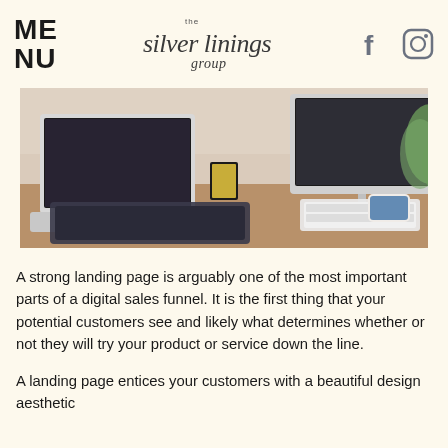MENU
[Figure (logo): The Silver Linings Group logo in cursive script]
[Figure (photo): Desktop workspace with iMac, laptop, keyboard, graphics tablet, and smartphone on wooden desk with plant in background]
A strong landing page is arguably one of the most important parts of a digital sales funnel. It is the first thing that your potential customers see and likely what determines whether or not they will try your product or service down the line.
A landing page entices your customers with a beautiful design aesthetic